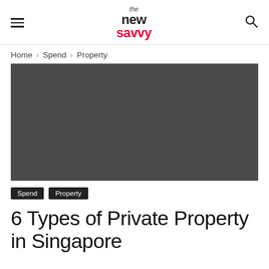the new savvy
Home › Spend › Property
[Figure (photo): Dark grey placeholder hero image for article about types of private property in Singapore]
Spend  Property
6 Types of Private Property in Singapore